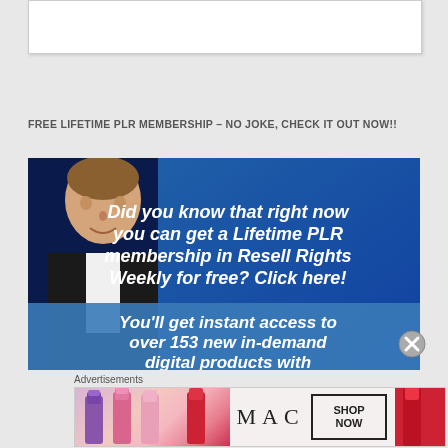[Figure (other): White content box at top of page]
FREE LIFETIME PLR MEMBERSHIP – NO JOKE, CHECK IT OUT NOW!!
[Figure (illustration): Advertisement banner with man in suit on blue background. Text reads: 'Did you know that right now you can get a Lifetime PLR membership in Resell Rights Weekly for free? Click here! You'll get instant access to over 153 new in-demand digital products with']
Advertisements
[Figure (illustration): MAC cosmetics advertisement banner with lipsticks and SHOP NOW box]